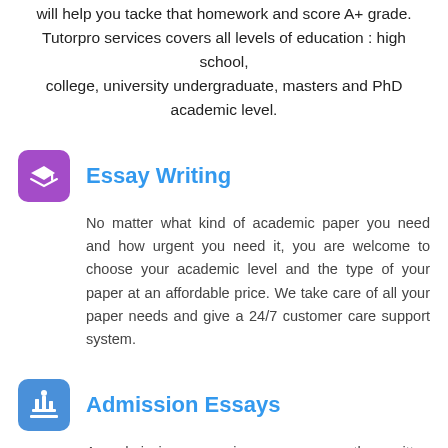will help you tacke that homework and score A+ grade. Tutorpro services covers all levels of education : high school, college, university undergraduate, masters and PhD academic level.
Essay Writing
No matter what kind of academic paper you need and how urgent you need it, you are welcome to choose your academic level and the type of your paper at an affordable price. We take care of all your paper needs and give a 24/7 customer care support system.
Admission Essays
An admission essay is an essay or other written statement by a candidate, often a potential student